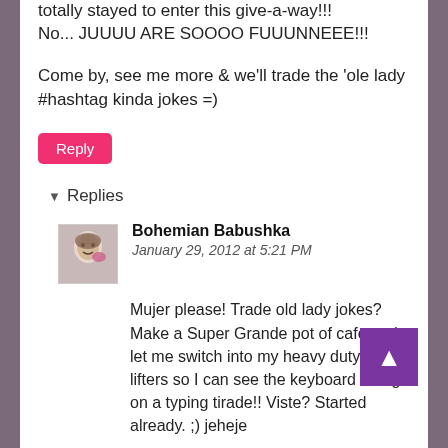totally stayed to enter this give-a-way!!! No... JUUUU ARE SOOOO FUUUNNEEE!!!
Come by, see me more & we'll trade the 'ole lady #hashtag kinda jokes =)
Reply
▾ Replies
Bohemian Babushka
January 29, 2012 at 5:21 PM
Mujer please! Trade old lady jokes? Make a Super Grande pot of cafe and let me switch into my heavy duty ladies lifters so I can see the keyboard and go on a typing tirade!! Viste? Started already. ;) jeheje
Thanks for commenting, and don't forget to enter BOTH giveaways. Buena Suerte &